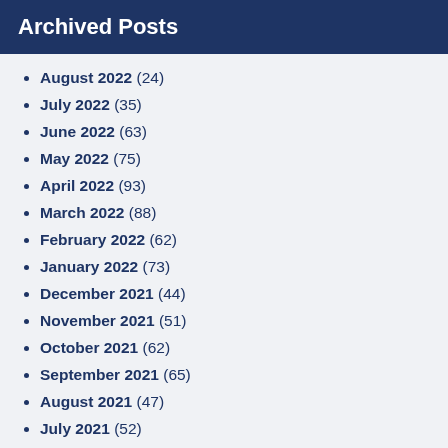Archived Posts
August 2022 (24)
July 2022 (35)
June 2022 (63)
May 2022 (75)
April 2022 (93)
March 2022 (88)
February 2022 (62)
January 2022 (73)
December 2021 (44)
November 2021 (51)
October 2021 (62)
September 2021 (65)
August 2021 (47)
July 2021 (52)
June 2021 (32)
May 2021 (73)
April 2021 (83)
March 2021 (70)
February 2021 (65)
January 2021 (42)